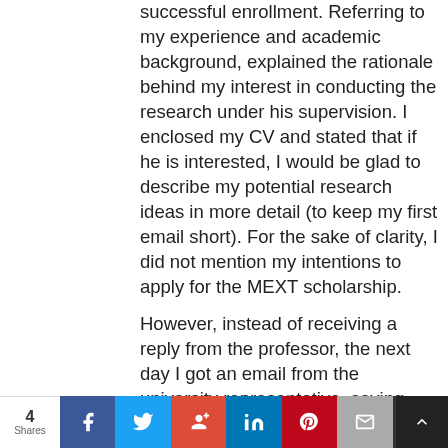successful enrollment. Referring to my experience and academic background, explained the rationale behind my interest in conducting the research under his supervision. I enclosed my CV and stated that if he is interested, I would be glad to describe my potential research ideas in more detail (to keep my first email short). For the sake of clarity, I did not mention my intentions to apply for the MEXT scholarship.
However, instead of receiving a reply from the professor, the next day I got an email from the university representative, saying that if I want to apply to their program, I should follow the general application procedure.
4 Shares | Facebook | Twitter | Google+ | LinkedIn | Pinterest | Email | Bookmark